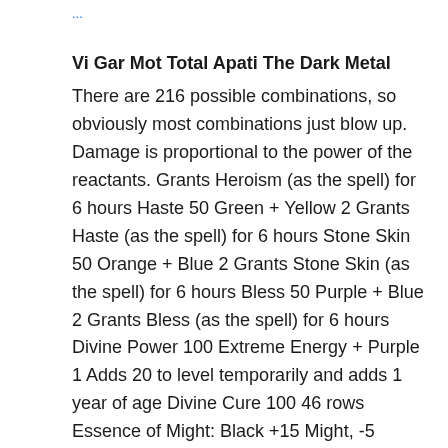...
Vi Gar Mot Total Apati The Dark Metal
There are 216 possible combinations, so obviously most combinations just blow up. Damage is proportional to the power of the reactants. Grants Heroism (as the spell) for 6 hours Haste 50 Green + Yellow 2 Grants Haste (as the spell) for 6 hours Stone Skin 50 Orange + Blue 2 Grants Stone Skin (as the spell) for 6 hours Bless 50 Purple + Blue 2 Grants Bless (as the spell) for 6 hours Divine Power 100 Extreme Energy + Purple 1 Adds 20 to level temporarily and adds 1 year of age Divine Cure 100 46 rows Essence of Might: Black +15 Might, -5 Intellect permanently (once only) Red: Heroism Essence of Personality: Black +15 Personality, -5 Speed